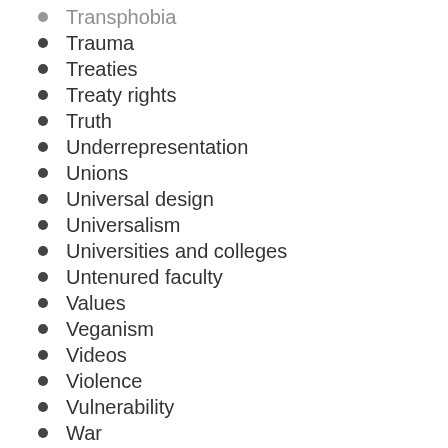Transphobia
Trauma
Treaties
Treaty rights
Truth
Underrepresentation
Unions
Universal design
Universalism
Universities and colleges
Untenured faculty
Values
Veganism
Videos
Violence
Vulnerability
War
Well-being